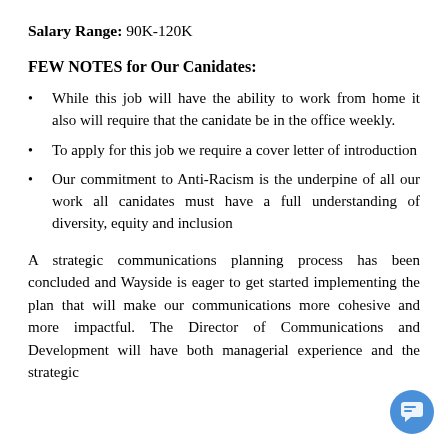Salary Range: 90K-120K
FEW NOTES for Our Canidates:
While this job will have the ability to work from home it also will require that the canidate be in the office weekly.
To apply for this job we require a cover letter of introduction
Our commitment to Anti-Racism is the underpine of all our work all canidates must have a full understanding of diversity, equity and inclusion
A strategic communications planning process has been concluded and Wayside is eager to get started implementing the plan that will make our communications more cohesive and more impactful. The Director of Communications and Development will have both managerial experience and the strategic